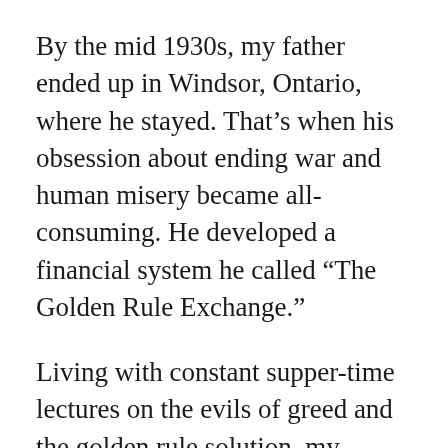By the mid 1930s, my father ended up in Windsor, Ontario, where he stayed. That’s when his obsession about ending war and human misery became all-consuming. He developed a financial system he called “The Golden Rule Exchange.”
Living with constant supper-time lectures on the evils of greed and the golden rule solution, my brother Dave fled home at the age of 17. I was two and idolized my big brother.
A few years before Dave died in 1997 at age 69, he told my wife, in tears, that he was